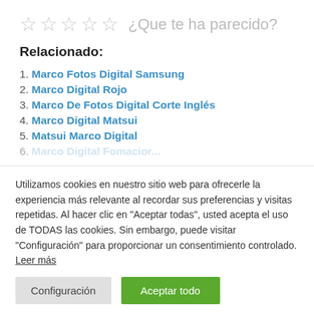[Figure (other): Five empty star rating icons followed by the text '¿Que te ha parecido?']
Relacionado:
1. Marco Fotos Digital Samsung
2. Marco Digital Rojo
3. Marco De Fotos Digital Corte Inglés
4. Marco Digital Matsui
5. Matsui Marco Digital
6. Marco Digital Fomacior (partially visible/faded)
Utilizamos cookies en nuestro sitio web para ofrecerle la experiencia más relevante al recordar sus preferencias y visitas repetidas. Al hacer clic en "Aceptar todas", usted acepta el uso de TODAS las cookies. Sin embargo, puede visitar "Configuración" para proporcionar un consentimiento controlado. Leer más
Configuración | Aceptar todo